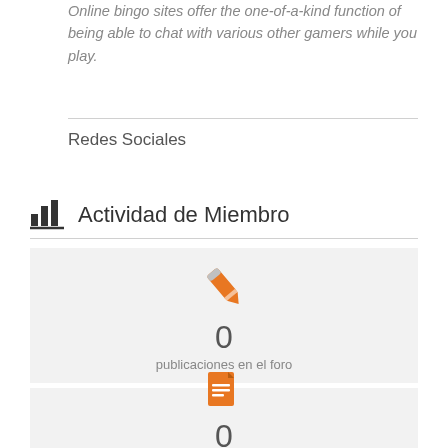Online bingo sites offer the one-of-a-kind function of being able to chat with various other gamers while you play.
Redes Sociales
Actividad de Miembro
0
publicaciones en el foro
0
temas